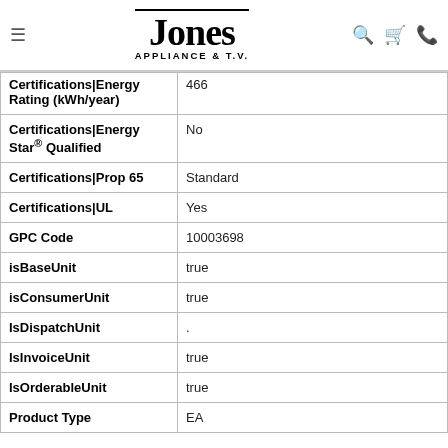Jones Appliance & T.V.
| Attribute | Value |
| --- | --- |
| Certifications|Energy Rating (kWh/year) | 466 |
| Certifications|Energy Star® Qualified | No |
| Certifications|Prop 65 | Standard |
| Certifications|UL | Yes |
| GPC Code | 10003698 |
| isBaseUnit | true |
| isConsumerUnit | true |
| IsDispatchUnit | . |
| IsInvoiceUnit | true |
| IsOrderableUnit | true |
| Product Type | EA |